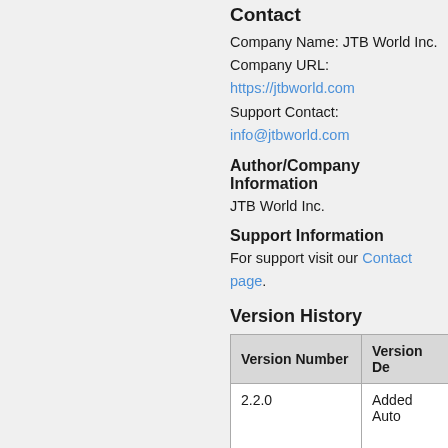Contact
Company Name: JTB World Inc.
Company URL: https://jtbworld.com
Support Contact: info@jtbworld.com
Author/Company Information
JTB World Inc.
Support Information
For support visit our Contact page.
Version History
| Version Number | Version De... |
| --- | --- |
| 2.2.0 | Added Auto... |
| 2.1.0 | Fixed error ... |
| 1.1.2 | Added Auto... |